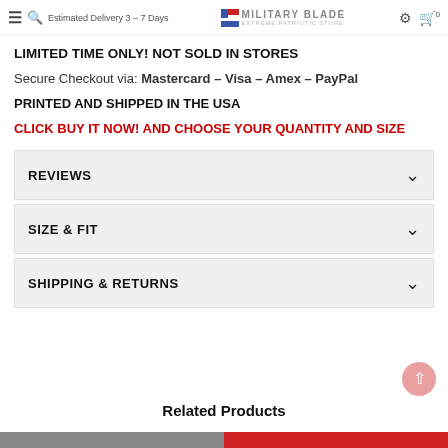Estimated Delivery 3 - 7 Days | MILITARY BLADE EXTREME PATRIOTIC STORE
LIMITED TIME ONLY! NOT SOLD IN STORES
Secure Checkout via: Mastercard – Visa – Amex – PayPal
PRINTED AND SHIPPED IN THE USA
CLICK BUY IT NOW! AND CHOOSE YOUR QUANTITY AND SIZE
REVIEWS
SIZE & FIT
SHIPPING & RETURNS
Related Products